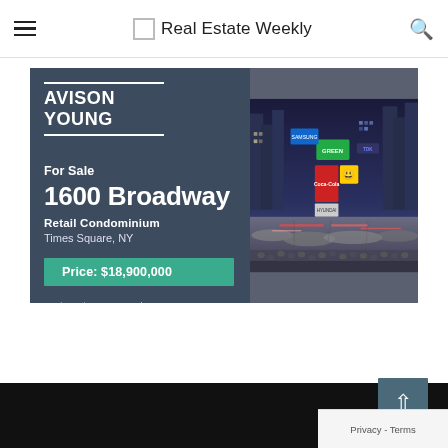Real Estate Weekly
[Figure (infographic): Avison Young advertisement for 1600 Broadway Retail Condominium in Times Square, NY. For Sale at Price: $18,900,000. Website: aytristateinvestmentsales.com. Left panel shows property details on dark blue background; right panel shows aerial photo of Times Square, New York City.]
Privacy - Terms